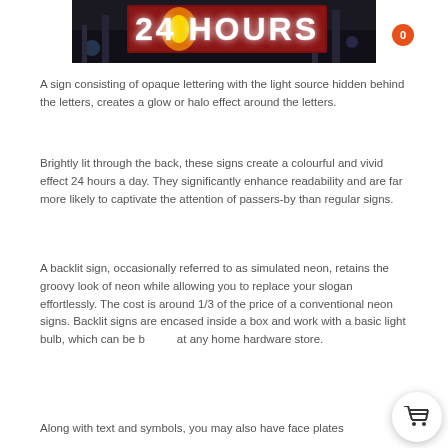[Figure (photo): A nighttime photo of a '24 HOURS' illuminated sign with glowing backlit red background and white text, mounted on a building.]
A sign consisting of opaque lettering with the light source hidden behind the letters, creates a glow or halo effect around the letters.
Brightly lit through the back, these signs create a colourful and vivid effect 24 hours a day. They significantly enhance readability and are far more likely to captivate the attention of passers-by than regular signs.
A backlit sign, occasionally referred to as simulated neon, retains the groovy look of neon while allowing you to replace your slogan effortlessly. The cost is around 1/3 of the price of a conventional neon signs. Backlit signs are encased inside a box and work with a basic light bulb, which can be bought at any home hardware store.
Along with text and symbols, you may also have face plates